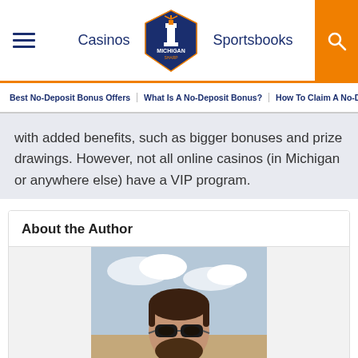Casinos | Michigan Sharp (logo) | Sportsbooks | Search
Best No-Deposit Bonus Offers | What Is A No-Deposit Bonus? | How To Claim A No-Deposit Bonus
with added benefits, such as bigger bonuses and prize drawings. However, not all online casinos (in Michigan or anywhere else) have a VIP program.
About the Author
[Figure (photo): Photo of the author, a man with a beard and sunglasses, outdoors with sky in background]